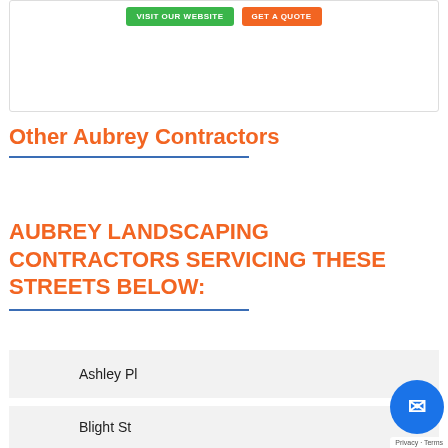[Figure (screenshot): Top card with green VISIT OUR WEBSITE button and orange GET A QUOTE button]
Other Aubrey Contractors
AUBREY LANDSCAPING CONTRACTORS SERVICING THESE STREETS BELOW:
Ashley Pl
Blight St